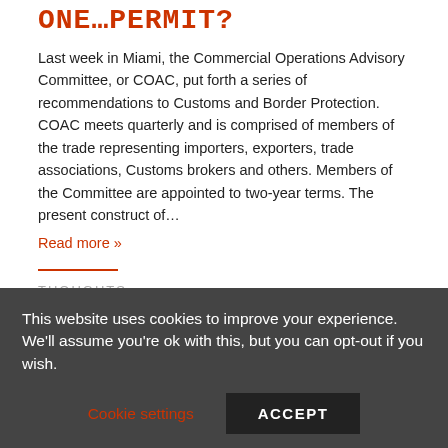ONE…PERMIT?
Last week in Miami, the Commercial Operations Advisory Committee, or COAC, put forth a series of recommendations to Customs and Border Protection.  COAC meets quarterly and is comprised of members of the trade representing importers, exporters, trade associations, Customs brokers and others.  Members of the Committee are appointed to two-year terms. The present construct of…
Read more »
THOUGHTS
This website uses cookies to improve your experience. We'll assume you're ok with this, but you can opt-out if you wish.
Cookie settings
ACCEPT